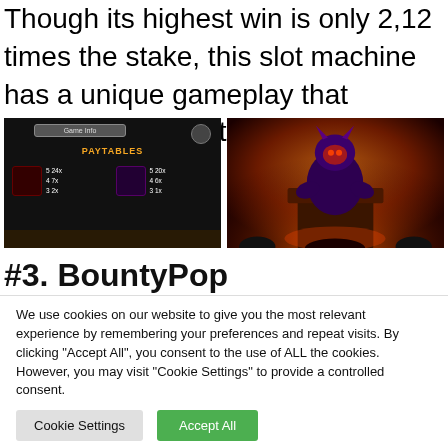Though its highest win is only 2,12 times the stake, this slot machine has a unique gameplay that compensates for this.
[Figure (screenshot): Slot machine game info screen showing PAYTABLES with two character icons and their payout values: 5 24x, 4 7x, 3 2x and 5 20x, 4 6x, 3 1x]
[Figure (screenshot): Slot machine game screen showing a demon/monster character seated on a throne with fire and dark background]
#3. BountyPop
We use cookies on our website to give you the most relevant experience by remembering your preferences and repeat visits. By clicking "Accept All", you consent to the use of ALL the cookies. However, you may visit "Cookie Settings" to provide a controlled consent.